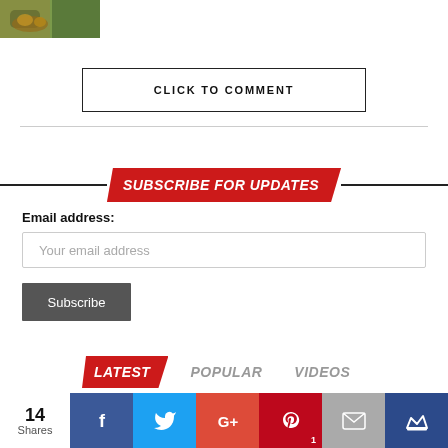[Figure (photo): Thumbnail image of hands holding soil/seeds in a garden setting]
CLICK TO COMMENT
SUBSCRIBE FOR UPDATES
Email address:
Your email address
Subscribe
LATEST   POPULAR   VIDEOS
14 Shares